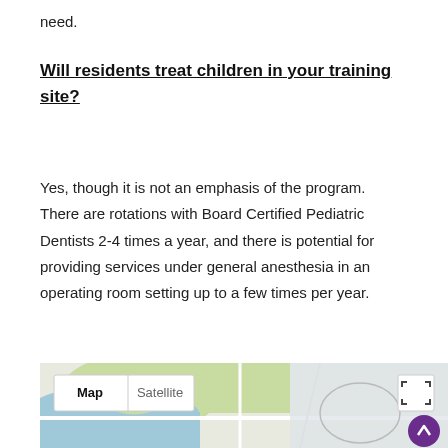need.
Will residents treat children in your training site?
Yes, though it is not an emphasis of the program. There are rotations with Board Certified Pediatric Dentists 2-4 times a year, and there is potential for providing services under general anesthesia in an operating room setting up to a few times per year.
[Figure (map): Google Maps embed showing a map view with Map and Satellite toggle buttons, a fullscreen button, and a scroll-up navigation button.]